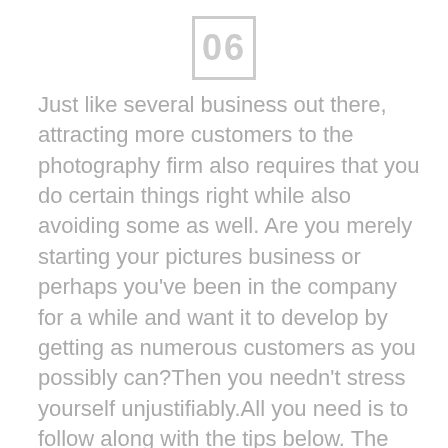06
Just like several business out there, attracting more customers to the photography firm also requires that you do certain things right while also avoiding some as well. Are you merely starting your pictures business or perhaps you've been in the company for a while and want it to develop by getting as numerous customers as you possibly can?Then you needn't stress yourself unjustifiably.All you need is to follow along with the tips below. The following advice will help you get more customers to your own Photo booth for